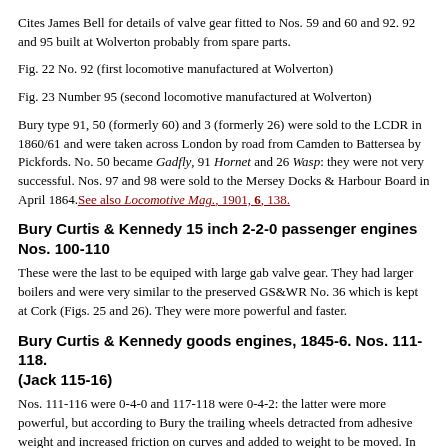Cites James Bell for details of valve gear fitted to Nos. 59 and 60 and 92. 92 and 95 built at Wolverton probably from spare parts.
Fig. 22 No. 92 (first locomotive manufactured at Wolverton)
Fig. 23 Number 95 (second locomotive manufactured at Wolverton)
Bury type 91, 50 (formerly 60) and 3 (formerly 26) were sold to the LCDR in 1860/61 and were taken across London by road from Camden to Battersea by Pickfords. No. 50 became Gadfly, 91 Hornet and 26 Wasp: they were not very successful. Nos. 97 and 98 were sold to the Mersey Docks & Harbour Board in April 1864. See also Locomotive Mag., 1901, 6, 138.
Bury Curtis & Kennedy 15 inch 2-2-0 passenger engines Nos. 100-110
These were the last to be equiped with large gab valve gear. They had larger boilers and were very similar to the preserved GS&WR No. 36 which is kept at Cork (Figs. 25 and 26). They were more powerful and faster.
Bury Curtis & Kennedy goods engines, 1845-6. Nos. 111-118. (Jack 115-16)
Nos. 111-116 were 0-4-0 and 117-118 were 0-4-2: the latter were more powerful, but according to Bury the trailing wheels detracted from adhesive weight and increased friction on curves and added to weight to be moved. In 1853 No. 115 was fitted with rubber springs. In 1854/5 Nos 112, 113 and 115